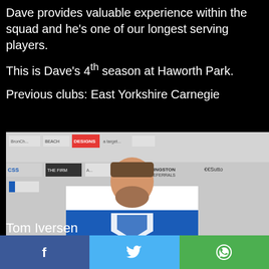Dave provides valuable experience within the squad and he’s one of our longest serving players.
This is Dave’s 4th season at Haworth Park.
Previous clubs: East Yorkshire Carnegie
[Figure (photo): Photo of a male rugby player in a blue and white kit standing in front of a sponsor banner backdrop containing logos including DESIGNS, Kingston, Sutton, CSS, and others.]
Tom Iversen
Facebook | Twitter | WhatsApp social share bar